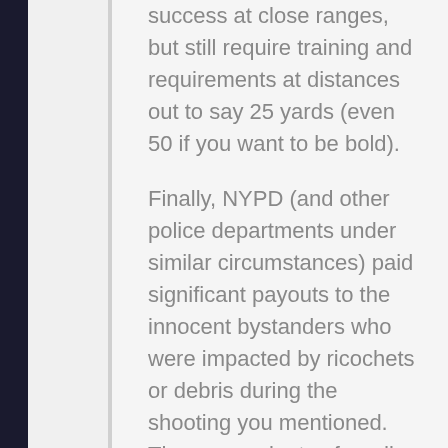success at close ranges, but still require training and requirements at distances out to say 25 yards (even 50 if you want to be bold).
Finally, NYPD (and other police departments under similar circumstances) paid significant payouts to the innocent bystanders who were impacted by ricochets or debris during the shooting you mentioned. There was plenty of media coverage, including hard questions about the number of missed shots. I would refer you back